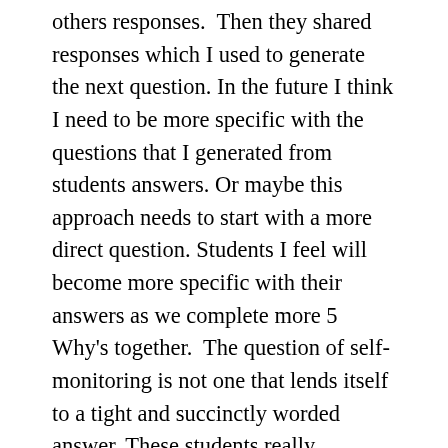others responses.  Then they shared responses which I used to generate the next question. In the future I think I need to be more specific with the questions that I generated from students answers. Or maybe this approach needs to start with a more direct question. Students I feel will become more specific with their answers as we complete more 5 Why's together.  The question of self-monitoring is not one that lends itself to a tight and succinctly worded answer. These students really generated a wonderful reason for reading which can be our reason for self-monitoring also. Although the coding strategy (which lends itself as a way self-monitoring non-fiction texts) was not specifically discussed in